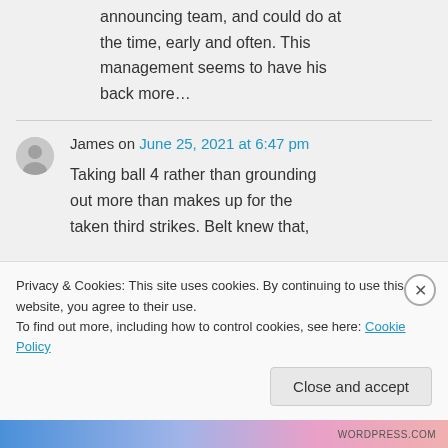announcing team, and could do at the time, early and often. This management seems to have his back more…
James on June 25, 2021 at 6:47 pm
Taking ball 4 rather than grounding out more than makes up for the taken third strikes. Belt knew that,
Privacy & Cookies: This site uses cookies. By continuing to use this website, you agree to their use.
To find out more, including how to control cookies, see here: Cookie Policy
Close and accept